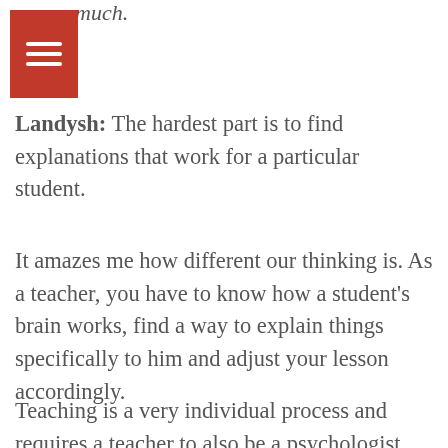much.
Landysh: The hardest part is to find explanations that work for a particular student.
It amazes me how different our thinking is. As a teacher, you have to know how a student's brain works, find a way to explain things specifically to him and adjust your lesson accordingly.
Teaching is a very individual process and requires a teacher to also be a psychologist. Besides, lessons must be scheduled...